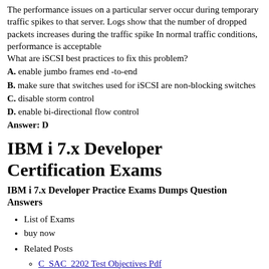The performance issues on a particular server occur during temporary traffic spikes to that server. Logs show that the number of dropped packets increases during the traffic spike In normal traffic conditions, performance is acceptable
What are iSCSI best practices to fix this problem?
A. enable jumbo frames end -to-end
B. make sure that switches used for iSCSI are non-blocking switches
C. disable storm control
D. enable bi-directional flow control
Answer: D
IBM i 7.x Developer Certification Exams
IBM i 7.x Developer Practice Exams Dumps Question Answers
List of Exams
buy now
Related Posts
C_SAC_2202 Test Objectives Pdf
MB-330 Reliable Dumps Book
Reliable C-ARSCC-2208 Exam Vce
Valid 1z0-1079-22 Test Forum